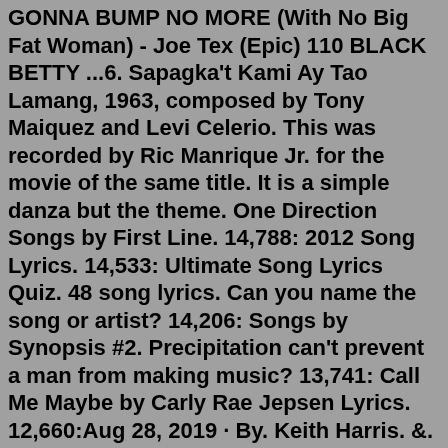GONNA BUMP NO MORE (With No Big Fat Woman) - Joe Tex (Epic) 110 BLACK BETTY ...6. Sapagka't Kami Ay Tao Lamang, 1963, composed by Tony Maiquez and Levi Celerio. This was recorded by Ric Manrique Jr. for the movie of the same title. It is a simple danza but the theme. One Direction Songs by First Line. 14,788: 2012 Song Lyrics. 14,533: Ultimate Song Lyrics Quiz. 48 song lyrics. Can you name the song or artist? 14,206: Songs by Synopsis #2. Precipitation can't prevent a man from making music? 13,741: Call Me Maybe by Carly Rae Jepsen Lyrics. 12,660:Aug 28, 2019 · By. Keith Harris. &. Richard Gehr. 20 songs that were inescapable during Nixon era, including Marvin Gaye, Elton John, Carole King and more. Michael Putland/Getty, Terry O'Niell/Getty, Jim McCrary ... Side One of that album kicks off with the first song on our list: 1. "Yesterday" This is undoubtedly the best known of Paul McCartney's classic ballads. The best lines? "Suddenly I'm not half the man I used to be There's a shadow hanging over me Oh, yesterday came